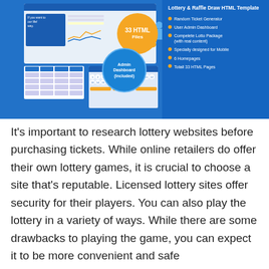[Figure (screenshot): Lottery & Raffle Draw HTML Template promotional banner showing a blue background with website mockups on the left, orange and blue circular badges in the center, and a feature list on the right including: Random Ticket Generator, User Admin Dashboard, Complete Lotto Package (with real content), Specially designed for Mobile, 6 Homepages, Totall 33 HTML Pages. Center badges read '33 HTML Files' and 'Admin Dashboard (Included)'.]
It's important to research lottery websites before purchasing tickets. While online retailers do offer their own lottery games, it is crucial to choose a site that's reputable. Licensed lottery sites offer security for their players. You can also play the lottery in a variety of ways. While there are some drawbacks to playing the game, you can expect it to be more convenient and safe